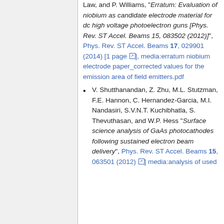Law, and P. Williams, "Erratum: Evaluation of niobium as candidate electrode material for dc high voltage photoelectron guns [Phys. Rev. ST Accel. Beams 15, 083502 (2012)]", Phys. Rev. ST Accel. Beams 17, 029901 (2014) [1 page], media:erratum niobium electrode paper_corrected values for the emission area of field emitters.pdf
V. Shutthanandan, Z. Zhu, M.L. Stutzman, F.E. Hannon, C. Hernandez-Garcia, M.I. Nandasiri, S.V.N.T. Kuchibhatla, S. Thevuthasan, and W.P. Hess "Surface science analysis of GaAs photocathodes following sustained electron beam delivery", Phys. Rev. ST Accel. Beams 15, 063501 (2012) media:analysis of used